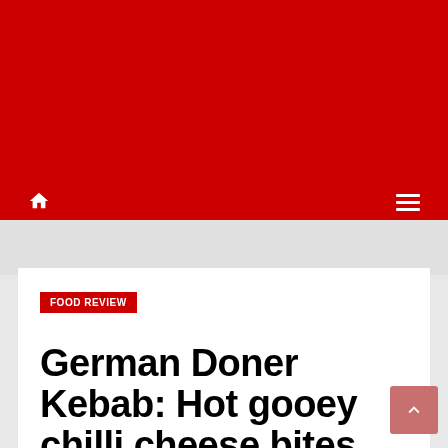[Figure (other): Red header background banner]
Navigation bar with home icon and hamburger menu
FOOD REVIEW
German Doner Kebab: Hot gooey chilli cheese bites